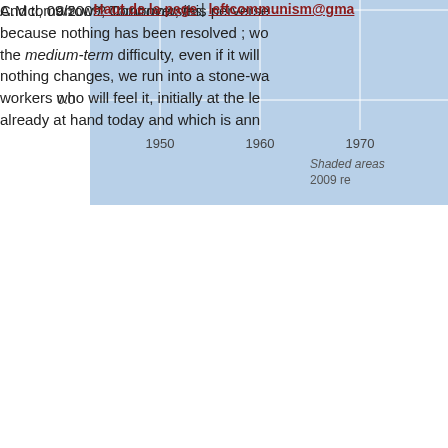[Figure (continuous-plot): Partial view of a time series chart with blue background. Y-axis shows values 0.0 and 2.5. X-axis shows years 1950, 1960, 1970. Text reads 'Shaded areas' and '2009 re...' (partially visible). Chart is cropped on right side.]
And tomorrow ? Tomorrow, this perverse... because nothing has been resolved ; w... the medium-term difficulty, even if it will... nothing changes, we run into a stone-wa... workers who will feel it, initially at the le... already at hand today and which is ann...
C.Mcl, 09/2009, Controversies.
Haut de la page | leftcommunism@gma...